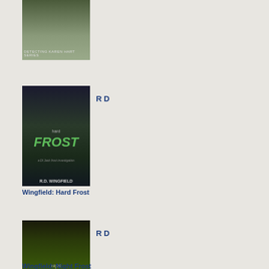[Figure (photo): Book cover: Detecting Karen Hart Series, showing two children in a forest]
[Figure (photo): Book cover: Hard Frost by R.D. Wingfield, dark forest scene with green title text]
R D
Wingfield: Hard Frost
[Figure (photo): Book cover: Night Frost by R.D. Wingfield, yellow-green night road scene]
R D
Wingfield: Night Frost
had
com
with
it"

I

add
ital
alw
hav
don
hist

mu
foo
win
-
the
lot.
Wh

I

rea
the
boo